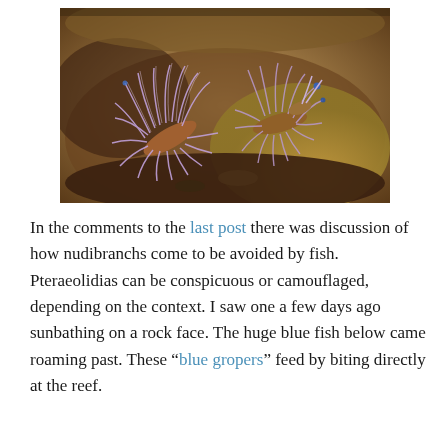[Figure (photo): Close-up underwater photograph of nudibranch sea slugs (Pteraeolidia) with elaborate purple-striped cerata radiating from their bodies, resting on a reef surface with warm brown and ochre background tones.]
In the comments to the last post there was discussion of how nudibranchs come to be avoided by fish. Pteraeolidias can be conspicuous or camouflaged, depending on the context. I saw one a few days ago sunbathing on a rock face. The huge blue fish below came roaming past. These "blue gropers" feed by biting directly at the reef.